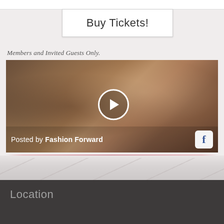Buy Tickets!
Members and Invited Guests Only.
[Figure (screenshot): Video thumbnail showing a woman with curly auburn hair, a circular play button in the center, and a 'Posted by Fashion Forward' label with Facebook icon in the lower portion]
Location